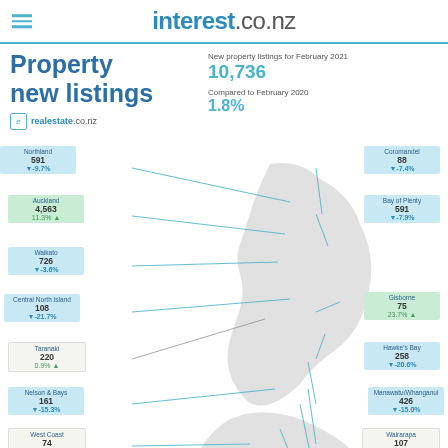interest.co.nz
Property new listings
New property listings for February 2021
10,736
Compared to February 2020
1.8%
[Figure (map): Map of New Zealand with region labels showing new property listings for February 2021. Regions: Northland 591 -9.7%, Auckland 4,563 11.3%, Waikato 726 -3.6%, Central North Island 108 -21.7%, Taranaki 220 0.9%, Nelson & Bays 161 -15.3%, West Coast 74 -14.9%, Central Otago/Lakes 242 31.5%, Otago 589 12.8%, Coromandel 88 -7.4%, Bay of Plenty 591 -7.9%, Gisborne 75 23.7%, Hawke's Bay 258 -20.6%, Manawatu/Whanganui 426 -15.0%, Wairarapa 107 -15.7%, Wellington 779 -2.9%, Marlborough 109 -6.0%]